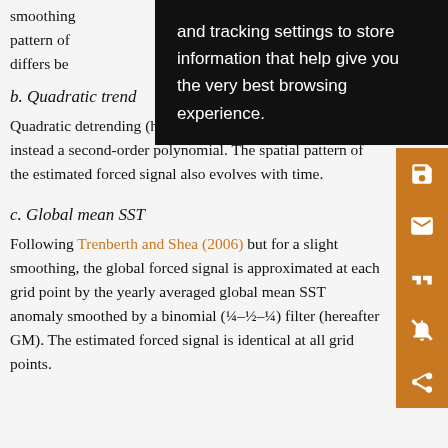smoothing and tracking settings to store information that help give you the very best browsing experience. pattern of the trend differs be
[Figure (other): Black tooltip overlay with white text: 'and tracking settings to store information that help give you the very best browsing experience.']
b. Quadratic trend
Quadratic detrending (hereafter D2) consists of fitting instead a second-order polynomial. The spatial pattern of the estimated forced signal also evolves with time.
c. Global mean SST
Following Trenberth and Shea (2006) but for a slight smoothing, the global forced signal is approximated at each grid point by the yearly averaged global mean SST anomaly smoothed by a binomial (¼–½–¼) filter (hereafter GM). The estimated forced signal is identical at all grid points.